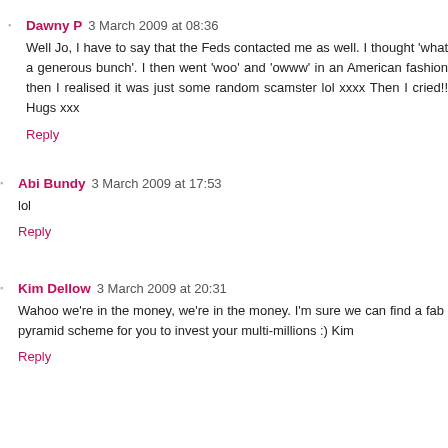Dawny P  3 March 2009 at 08:36
Well Jo, I have to say that the Feds contacted me as well. I thought 'what a generous bunch'. I then went 'woo' and 'owww' in an American fashion then I realised it was just some random scamster lol xxxx Then I cried!! Hugs xxx
Reply
Abi Bundy  3 March 2009 at 17:53
lol
Reply
Kim Dellow  3 March 2009 at 20:31
Wahoo we're in the money, we're in the money. I'm sure we can find a fab pyramid scheme for you to invest your multi-millions :) Kim
Reply